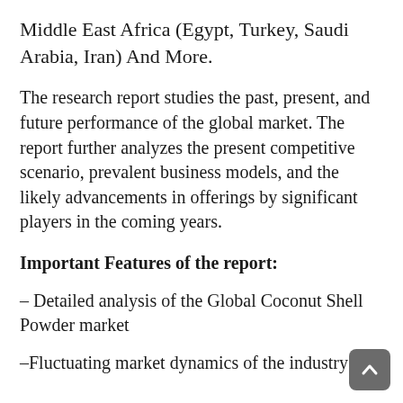Middle East Africa (Egypt, Turkey, Saudi Arabia, Iran) And More.
The research report studies the past, present, and future performance of the global market. The report further analyzes the present competitive scenario, prevalent business models, and the likely advancements in offerings by significant players in the coming years.
Important Features of the report:
– Detailed analysis of the Global Coconut Shell Powder market
– Fluctuating market dynamics of the industry